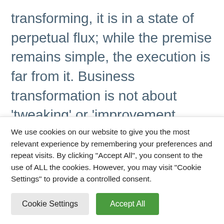transforming, it is in a state of perpetual flux; while the premise remains simple, the execution is far from it. Business transformation is not about 'tweaking' or 'improvement initiatives'. It is about strategic review and following it up with a strategic and tactical business plan to create new opportunities
We use cookies on our website to give you the most relevant experience by remembering your preferences and repeat visits. By clicking "Accept All", you consent to the use of ALL the cookies. However, you may visit "Cookie Settings" to provide a controlled consent.
Cookie Settings
Accept All